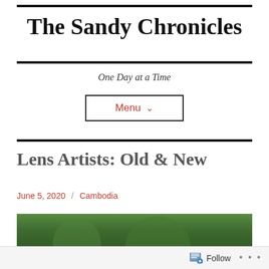The Sandy Chronicles
One Day at a Time
Menu ∨
Lens Artists: Old & New
June 5, 2020 / Cambodia
[Figure (photo): Outdoor nature photo showing green trees and foliage]
Follow ...